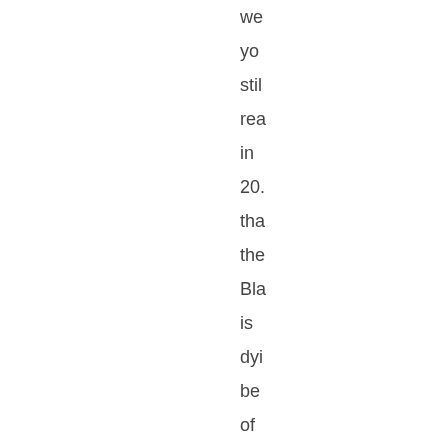we you stil rea in 20. tha the Bla is dyi be of the iPh ha (th Bl